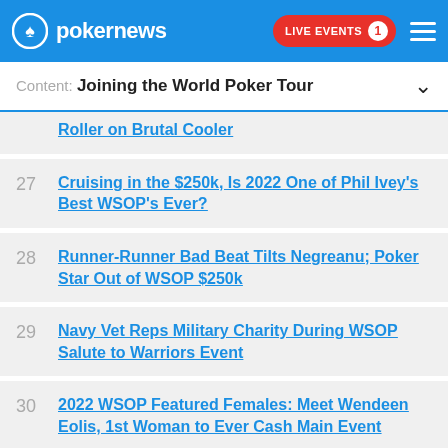pokernews — LIVE EVENTS 1
Content: Joining the World Poker Tour
Roller on Brutal Cooler
27 Cruising in the $250k, Is 2022 One of Phil Ivey's Best WSOP's Ever?
28 Runner-Runner Bad Beat Tilts Negreanu; Poker Star Out of WSOP $250k
29 Navy Vet Reps Military Charity During WSOP Salute to Warriors Event
30 2022 WSOP Featured Females: Meet Wendeen Eolis, 1st Woman to Ever Cash Main Event